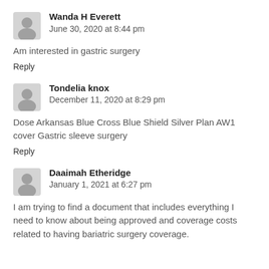Wanda H Everett
June 30, 2020 at 8:44 pm
Am interested in gastric surgery
Reply
Tondelia knox
December 11, 2020 at 8:29 pm
Dose Arkansas Blue Cross Blue Shield Silver Plan AW1 cover Gastric sleeve surgery
Reply
Daaimah Etheridge
January 1, 2021 at 6:27 pm
I am trying to find a document that includes everything I need to know about being approved and coverage costs related to having bariatric surgery coverage.